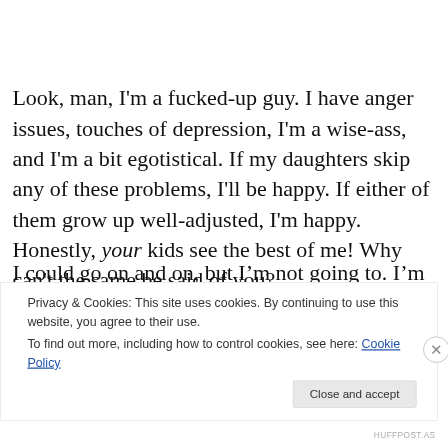Look, man, I'm a fucked-up guy. I have anger issues, touches of depression, I'm a wise-ass, and I'm a bit egotistical. If my daughters skip any of these problems, I'll be happy. If either of them grow up well-adjusted, I'm happy. Honestly, your kids see the best of me! Why can't the same be said of you?
I could go on and on, but I'm not going to. I'm tired, and I
Privacy & Cookies: This site uses cookies. By continuing to use this website, you agree to their use.
To find out more, including how to control cookies, see here: Cookie Policy